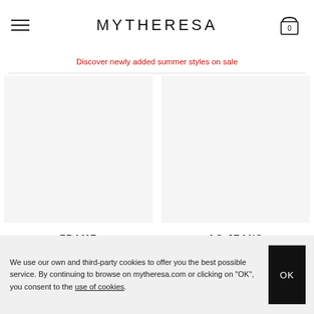MYTHERESA
Discover newly added summer styles on sale
[Figure (other): Product image placeholder for FRAME item]
FRAME
€ 215
[Figure (other): Product image placeholder for AG JEANS item]
AG JEANS
€ 185
We use our own and third-party cookies to offer you the best possible service. By continuing to browse on mytheresa.com or clicking on "OK", you consent to the use of cookies.